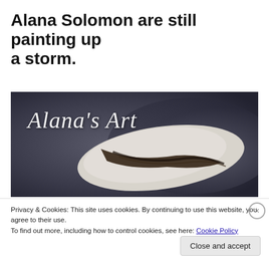Alana Solomon are still painting up a storm.
[Figure (photo): Banner image for Alana's Art website showing cursive script text 'Alana's Art' over a dark grey textured background with a white painted shape and dark ink/paint strokes.]
Privacy & Cookies: This site uses cookies. By continuing to use this website, you agree to their use.
To find out more, including how to control cookies, see here: Cookie Policy
Close and accept